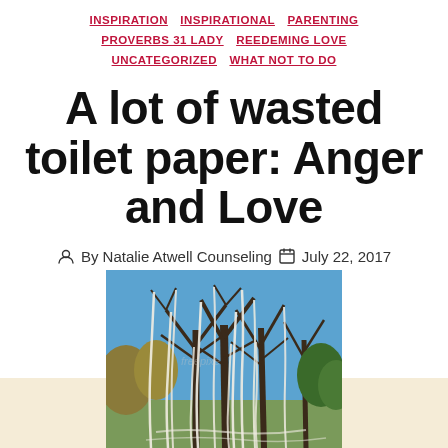INSPIRATION  INSPIRATIONAL  PARENTING  PROVERBS 31 LADY  REEDEMING LOVE  UNCATEGORIZED  WHAT NOT TO DO
A lot of wasted toilet paper: Anger and Love
By Natalie Atwell Counseling   July 22, 2017
3 Comments
[Figure (photo): Trees in a park wrapped/covered with streaming white toilet paper hanging from branches, photographed in autumn with blue sky background]